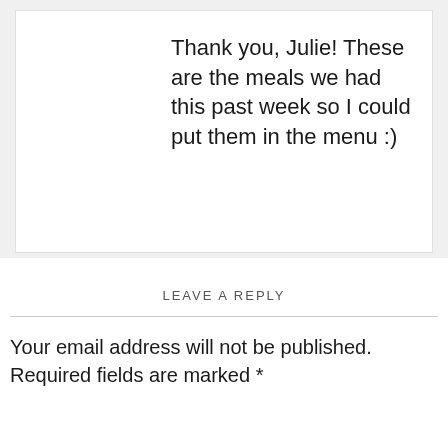Thank you, Julie! These are the meals we had this past week so I could put them in the menu :)
Reply
LEAVE A REPLY
Your email address will not be published. Required fields are marked *